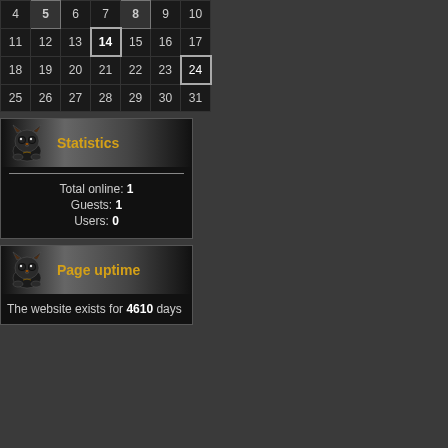| 4 | 5 | 6 | 7 | 8 | 9 | 10 |
| 11 | 12 | 13 | 14 | 15 | 16 | 17 |
| 18 | 19 | 20 | 21 | 22 | 23 | 24 |
| 25 | 26 | 27 | 28 | 29 | 30 | 31 |
Statistics
Total online: 1
Guests: 1
Users: 0
Page uptime
The website exists for 4610 days